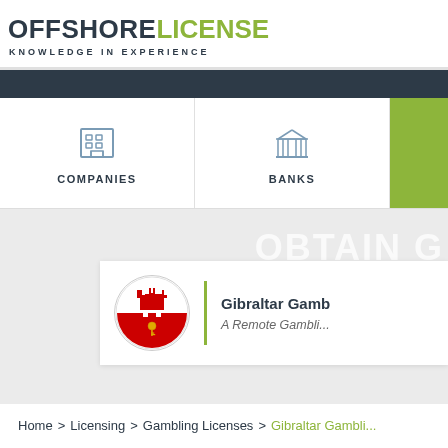[Figure (logo): OffshoreLicense logo with tagline KNOWLEDGE IN EXPERIENCE]
[Figure (screenshot): Navigation menu showing COMPANIES and BANKS icons with a green block on the right]
OBTAIN G
[Figure (screenshot): Card showing Gibraltar flag icon, green divider, title 'Gibraltar Gamb...' and subtitle 'A Remote Gambli...']
Home > Licensing > Gambling Licenses > Gibraltar Gambli...